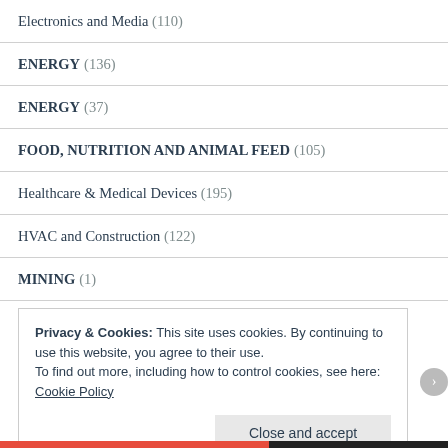Electronics and Media (110)
ENERGY (136)
ENERGY (37)
FOOD, NUTRITION AND ANIMAL FEED (105)
Healthcare & Medical Devices (195)
HVAC and Construction (122)
MINING (1)
Privacy & Cookies: This site uses cookies. By continuing to use this website, you agree to their use.
To find out more, including how to control cookies, see here: Cookie Policy